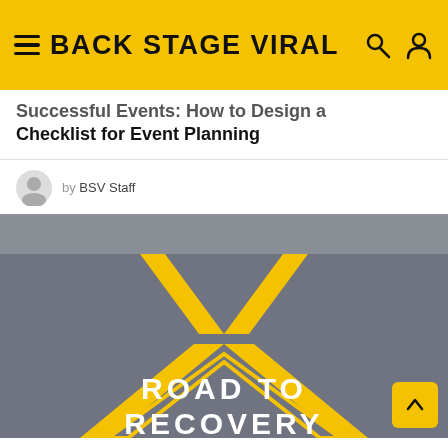BACK STAGE VIRAL
Successful Events: How to Design a Checklist for Event Planning
by BSV Staff
[Figure (photo): Road surface with yellow painted chevron/arrow markings pointing upward and white text reading 'ROAD TO RECOVERY' painted on the asphalt.]